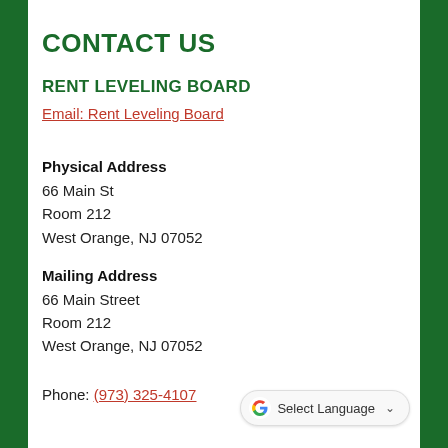CONTACT US
RENT LEVELING BOARD
Email: Rent Leveling Board
Physical Address
66 Main St
Room 212
West Orange, NJ 07052
Mailing Address
66 Main Street
Room 212
West Orange, NJ 07052
Phone: (973) 325-4107